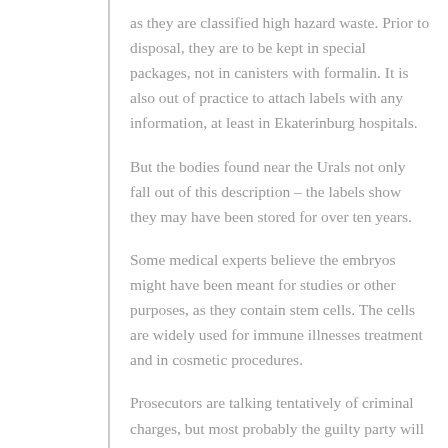as they are classified high hazard waste. Prior to disposal, they are to be kept in special packages, not in canisters with formalin. It is also out of practice to attach labels with any information, at least in Ekaterinburg hospitals.
But the bodies found near the Urals not only fall out of this description – the labels show they may have been stored for over ten years.
Some medical experts believe the embryos might have been meant for studies or other purposes, as they contain stem cells. The cells are widely used for immune illnesses treatment and in cosmetic procedures.
Prosecutors are talking tentatively of criminal charges, but most probably the guilty party will bear an administrative punishment.